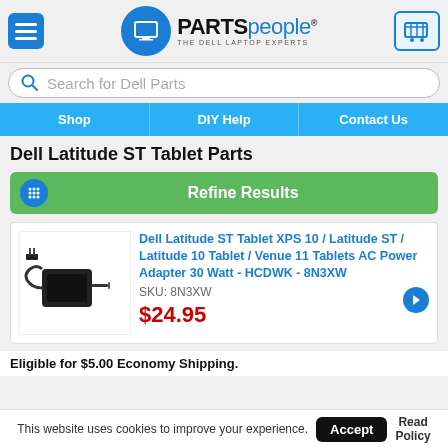[Figure (logo): Parts People logo - The Dell Laptop Experts, with blue circle laptop icon and cart icon]
Search for Dell Parts
Shop | DIY Help | Contact Us
Dell Latitude ST Tablet Parts
Refine Results
[Figure (photo): Dell AC power adapter product image]
Dell Latitude ST Tablet XPS 10 / Latitude ST / Latitude 10 Tablet / Venue 11 Tablets AC Power Adapter 30 Watt - HCDWK - 8N3XW
SKU: 8N3XW
$24.95
Eligible for $5.00 Economy Shipping.
This website uses cookies to improve your experience.
Accept
Read Policy